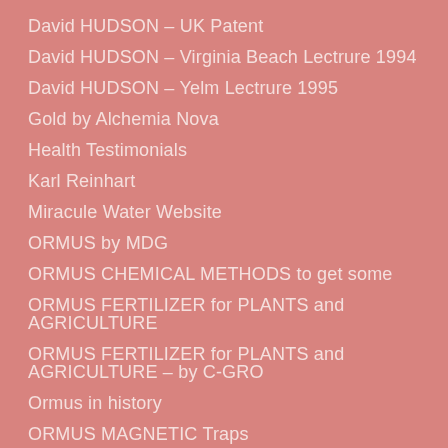David HUDSON – UK Patent
David HUDSON – Virginia Beach Lectrure 1994
David HUDSON – Yelm Lectrure 1995
Gold by Alchemia Nova
Health Testimonials
Karl Reinhart
Miracule Water Website
ORMUS by MDG
ORMUS CHEMICAL METHODS to get some
ORMUS FERTILIZER for PLANTS and AGRICULTURE
ORMUS FERTILIZER for PLANTS and AGRICULTURE – by C-GRO
Ormus in history
ORMUS MAGNETIC Traps
ORMUS WET METHODS to get some